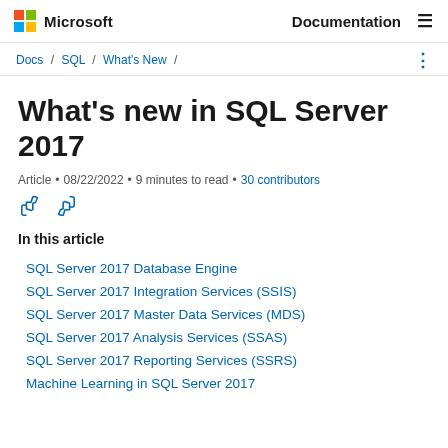Microsoft | Documentation
Docs / SQL / What's New /
What's new in SQL Server 2017
Article • 08/22/2022 • 9 minutes to read • 30 contributors
In this article
SQL Server 2017 Database Engine
SQL Server 2017 Integration Services (SSIS)
SQL Server 2017 Master Data Services (MDS)
SQL Server 2017 Analysis Services (SSAS)
SQL Server 2017 Reporting Services (SSRS)
Machine Learning in SQL Server 2017